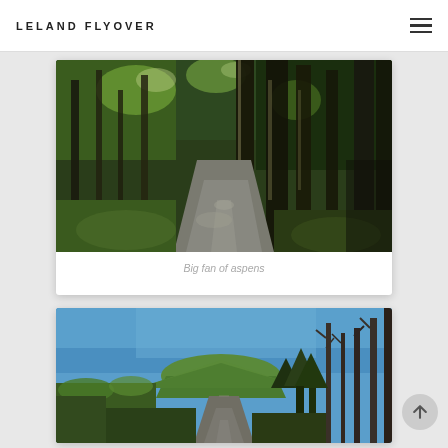LELAND FLYOVER
[Figure (photo): Forest road flanked by tall aspen/birch trees, dappled sunlight, lush green undergrowth, winding narrow path disappearing into distance]
Big fan of aspens
[Figure (photo): Rural road or trail leading into distance under a clear blue sky, with bare deciduous trees on right, green shrubs on left, and a rounded green hill in the background]